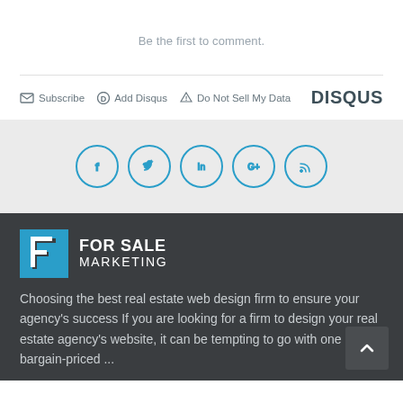Be the first to comment.
[Figure (infographic): Disqus commenting bar with Subscribe, Add Disqus, Do Not Sell My Data links and DISQUS branding]
[Figure (infographic): Social media icons in circles: Facebook, Twitter, LinkedIn, Google+, RSS feed]
[Figure (logo): For Sale Marketing logo - blue F icon with FOR SALE MARKETING text in white on dark background]
Choosing the best real estate web design firm to ensure your agency's success If you are looking for a firm to design your real estate agency's website, it can be tempting to go with one of the bargain-priced ...